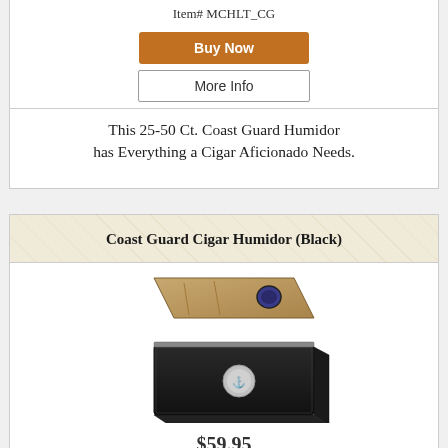Item# MCHLT_CG
Buy Now
More Info
This 25-50 Ct. Coast Guard Humidor has Everything a Cigar Aficionado Needs.
Coast Guard Cigar Humidor (Black)
[Figure (photo): Black cigar humidor box shown open and closed, with Coast Guard emblem on the front]
$59.95
Item# MCHLT/BK_CG
Buy Now
More Info